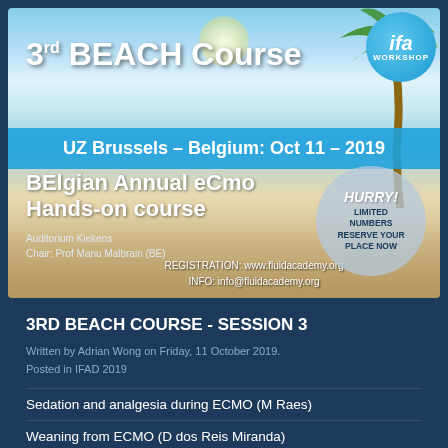[Figure (illustration): Beach scene banner with tropical sky, ocean, palm trees, and sand. Contains course branding for 3rd BEACH Course at UZ Brussels, October 11, 2019. Includes IFA Workshop badge, HURRY Limited Numbers Reserve Your Place Now circular badge, registration and contact info.]
3rd BEACH Course WORKSHOP
UZ Brussels – Belgium: Oct 11 – 2019
BElgian Annual eCmo Hands-on course
Auditorium Kiekens
Chair: Prof Manu Malbrain (BE)
REGISTRATION: www.fluidacademy.org
INFO: info@fluidacademy.org
3RD BEACH COURSE - SESSION 3
Written by Adrian Wong on Friday, 11 October 2019. Posted in IFAD 2019
Sedation and analgesia during ECMO (M Raes)
Weaning from ECMO (D dos Reis Miranda)